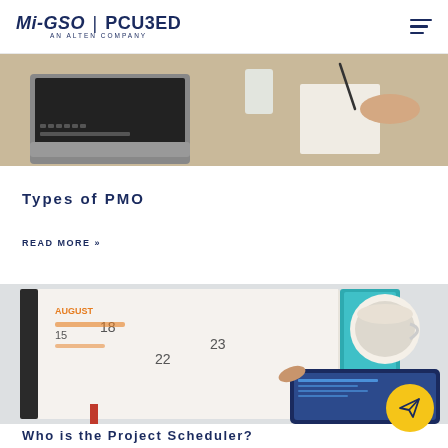Mi-GSO | PCU3ED — AN ALTEN COMPANY
[Figure (photo): Photo of a laptop and desk workspace with a person writing on paper]
Types of PMO
READ MORE »
[Figure (photo): Photo of an open planner/calendar with dates 18, 22, 23, a teal notebook, a coffee cup, and a hand pointing at a tablet displaying a schedule]
Who is the Project Scheduler?